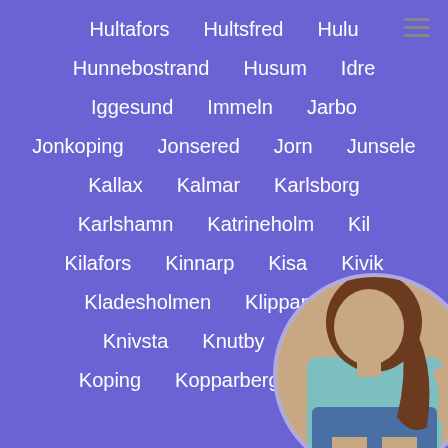Hultafors
Hultsfred
Hulu
Hunnebostrand
Husum
Idre
Iggesund
Immeln
Jarbo
Jonkoping
Jonsered
Jorn
Junsele
Kallax
Kalmar
Karlsborg
Karlshamn
Katrineholm
Kil
Kilafors
Kinnarp
Kisa
Kivik
Kladesholmen
Klippan
Kl
Knivsta
Knutby
Kode
Koping
Kopparberg
Kristia
[Figure (photo): Circular photo of a woman with brown hair, wearing a light blue top and denim shorts, positioned in the bottom-right corner]